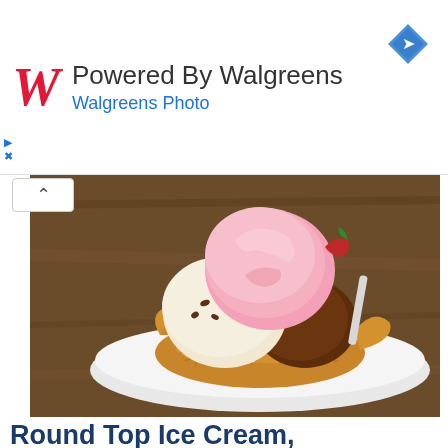Powered By Walgreens
Walgreens Photo
[Figure (photo): Three scoops of ice cream in a waffle bowl — strawberry/pink on top, vanilla chip in center, chocolate on right — served on a white plate on a wooden table]
Round Top Ice Cream, Damariscotta, ME
Featured in The 11 Best Ice Cream Parlors in Maine!
You know an ice cream shop is going to be good when